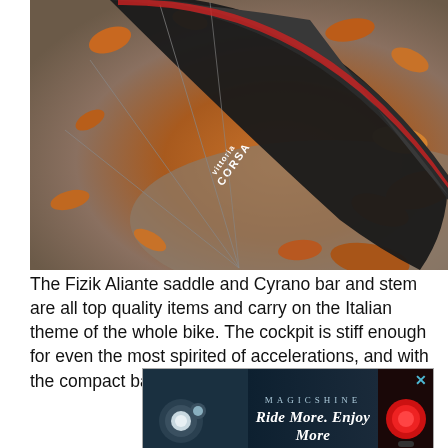[Figure (photo): Close-up photograph of a Vittoria Corsa bicycle tire/wheel rim against a background of autumn leaves and pavement. The tire sidewall shows 'Vittoria CORSA' branding in white text.]
The Fizik Aliante saddle and Cyrano bar and stem are all top quality items and carry on the Italian theme of the whole bike. The cockpit is stiff enough for even the most spirited of accelerations, and with the compact bar [X] ing mini[...] [...]ious hand[...]
[Figure (advertisement): Magicshine advertisement banner showing bicycle lights with text 'Ride More. Enjoy More' and an X close button]